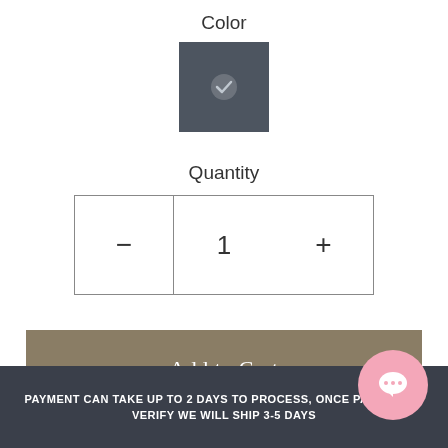Color
[Figure (other): Dark slate colored square swatch with a checkmark icon, indicating selected color]
Quantity
[Figure (other): Quantity selector with minus button, number 1 in center, and plus button]
Add to Cart
Buy it now
PAYMENT CAN TAKE UP TO 2 DAYS TO PROCESS, ONCE PAYMENT IS VERIFY WE WILL SHIP 3-5 DAYS